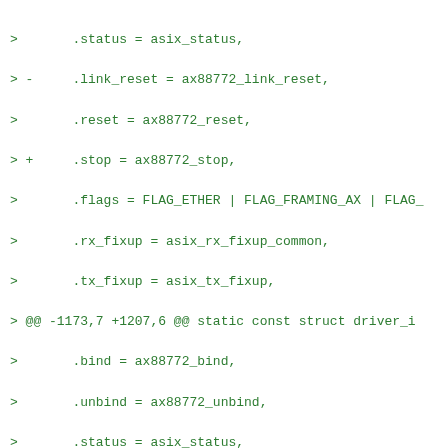>       .status = asix_status,
> -     .link_reset = ax88772_link_reset,
>       .reset = ax88772_reset,
> +     .stop = ax88772_stop,
>       .flags = FLAG_ETHER | FLAG_FRAMING_AX | FLAG_
>       .rx_fixup = asix_rx_fixup_common,
>       .tx_fixup = asix_tx_fixup,
> @@ -1173,7 +1207,6 @@ static const struct driver_i
>       .bind = ax88772_bind,
>       .unbind = ax88772_unbind,
>       .status = asix_status,
> -     .link_reset = ax88772_link_reset,
>       .reset = ax88772_reset,
>       .flags = FLAG_ETHER | FLAG_FRAMING_AX | FLAG_
>             FLAG_MULTI_PACKET,
> @@ -1209,7 +1242,6 @@ static const struct driver_i